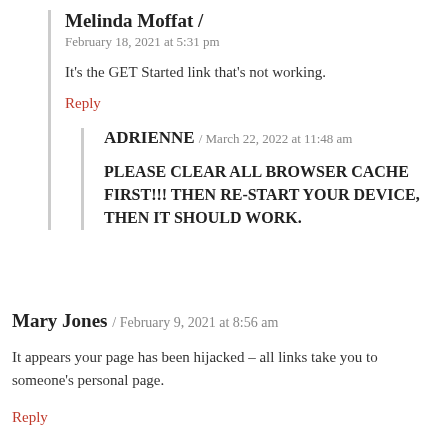Melinda Moffat / February 18, 2021 at 5:31 pm
It's the GET Started link that's not working.
Reply
ADRIENNE / March 22, 2022 at 11:48 am
PLEASE CLEAR ALL BROWSER CACHE FIRST!!! THEN RE-START YOUR DEVICE, THEN IT SHOULD WORK.
Mary Jones / February 9, 2021 at 8:56 am
It appears your page has been hijacked – all links take you to someone's personal page.
Reply